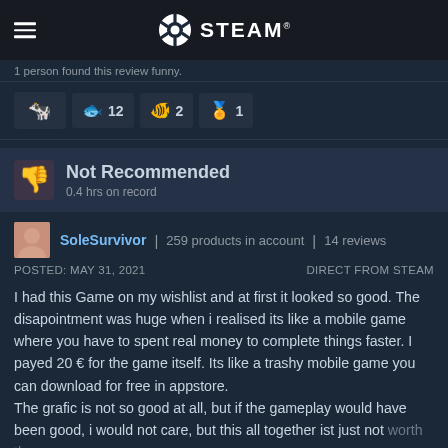STEAM®
1 person found this review funny.
[Figure (infographic): Row of four badge boxes with game achievement icons: a cow/alien icon, a fish icon with number 12, a fish icon with number 2, and a trophy/ribbon icon with number 1]
Not Recommended
0.4 hrs on record
SoleSurvivor | 259 products in account | 14 reviews
POSTED: MAY 31, 2021   DIRECT FROM STEAM
I had this Game on my wishlist and at first it looked so good. The disapointment was huge when i realised its like a mobile game where you have to spent real money to complete things faster. I payed 20 € for the game itself. Its like a trashy mobile game you can download for free in appstore.
The grafic is not so good at all, but if the gameplay would have been good, i would not care, but this all together ist just not worth the money.